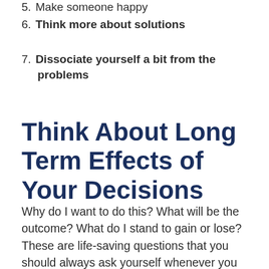5. Make someone happy
6. Think more about solutions
7. Dissociate yourself a bit from the problems
Think About Long Term Effects of Your Decisions
Why do I want to do this? What will be the outcome? What do I stand to gain or lose? These are life-saving questions that you should always ask yourself whenever you have a new decision to consider.
To avoid being caught in the messy middle of